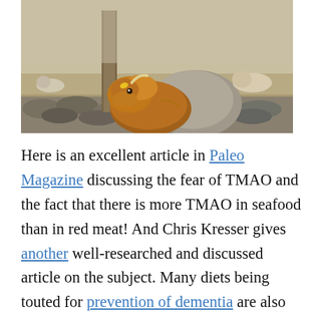[Figure (photo): Highland cattle resting near a stone wall with a tree trunk visible; other cattle grazing in the background on a grassy field.]
Here is an excellent article in Paleo Magazine discussing the fear of TMAO and the fact that there is more TMAO in seafood than in red meat! And Chris Kresser gives another well-researched and discussed article on the subject. Many diets being touted for prevention of dementia are also recommending poultry and fish over red meat. Leading Functional Medicine Docs are not fearing